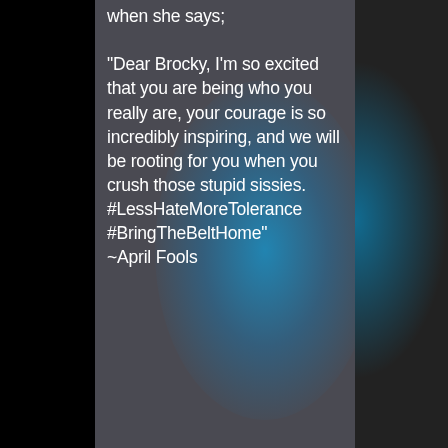when she says; "Dear Brocky, I'm so excited that you are being who you really are, your courage is so incredibly inspiring, and we will be rooting for you when you crush those stupid sissies. #LessHateMoreTolerance #BringTheBeltHome" ~April Fools